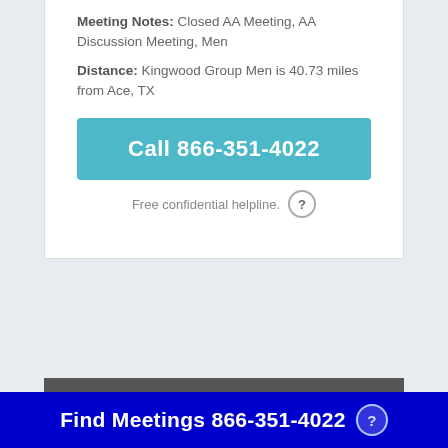Meeting Notes: Closed AA Meeting, AA Discussion Meeting, Men
Distance: Kingwood Group Men is 40.73 miles from Ace, TX
Call 866-351-4022
Free confidential helpline.
Find Meetings 866-351-4022